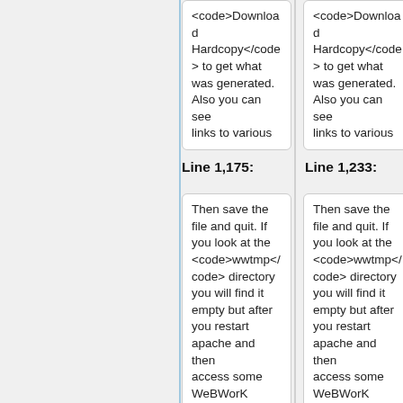<code>Download Hardcopy</code> to get what was generated. Also you can see links to various
<code>Download Hardcopy</code> to get what was generated. Also you can see links to various
Line 1,175:
Line 1,233:
Then save the file and quit. If you look at the <code>wwtmp</code> directory you will find it empty but after you restart apache and then access some WeBWorK problems, you will find
Then save the file and quit. If you look at the <code>wwtmp</code> directory you will find it empty but after you restart apache and then access some WeBWorK problems, you will find